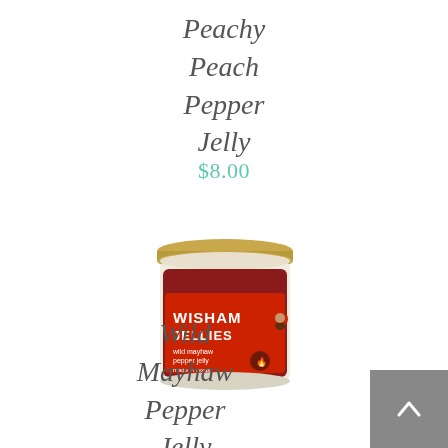Peachy Peach Pepper Jelly
$8.00
[Figure (photo): A small mason jar with a gold lid containing dark red jelly, labeled 'WISHAM JELLIES wild mayhaw pepper jelly', on a white background.]
Wild Mayhaw Pepper Jelly